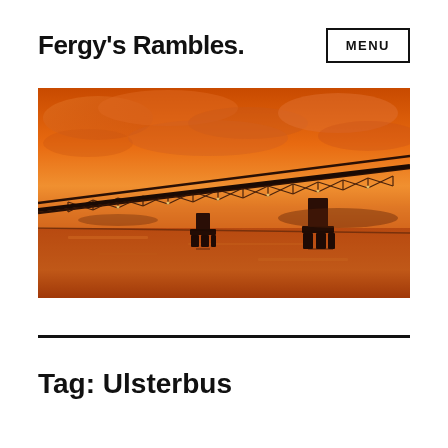Fergy's Rambles.
[Figure (photo): A steel bridge spanning a river at sunset, with vivid orange-red sky and reflections on the water below.]
Tag: Ulsterbus